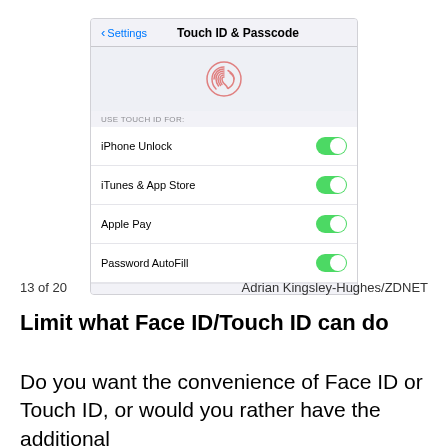[Figure (screenshot): iOS Touch ID & Passcode settings screen showing iPhone Unlock, iTunes & App Store, Apple Pay, and Password AutoFill toggles all enabled (green).]
13 of 20    Adrian Kingsley-Hughes/ZDNET
Limit what Face ID/Touch ID can do
Do you want the convenience of Face ID or Touch ID, or would you rather have the additional